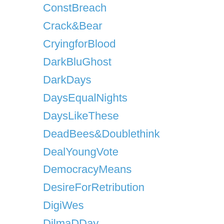ConstBreach
Crack&Bear
CryingforBlood
DarkBluGhost
DarkDays
DaysEqualNights
DaysLikeThese
DeadBees&Doublethink
DealYoungVote
DemocracyMeans
DesireForRetribution
DigiWes
DilmaDDay
DNasties
Don'tDie
Don'tLetIt
Don'tRepeatIt
Don'tShootWes
DoneWithDoubleTalk
DowneyLatamWes